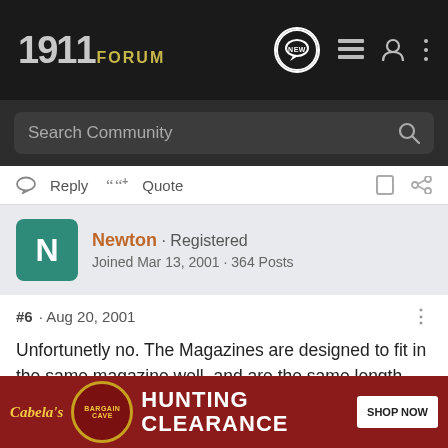1911 FORUM
Search Community
Reply  Quote
Newton · Registered
Joined Mar 13, 2001 · 364 Posts
#6 · Aug 20, 2001
Unfortunetly no. The Magazines are designed to fit in the same magazine well, and are the same length, but that's the only similarities. The .40 magazine has a reduced interal width due to indents that run throughout the length. The followers are different, and the lips are different. You can, however, buy a conversion kit so that your frame can be .45 and .40 capable. You wou... ...hen you war...
[Figure (screenshot): Cabela's Bargain Cave Hunting Clearance advertisement banner with Shop Now button]